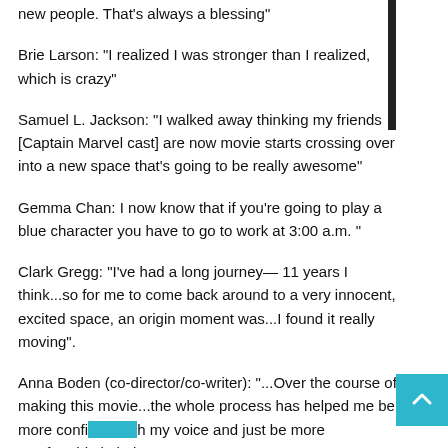new people. That’s always a blessing”
Brie Larson: “I realized I was stronger than I realized, which is crazy”
Samuel L. Jackson: “I walked away thinking my friends [Captain Marvel cast] are now movie starts crossing over into a new space that’s going to be really awesome”
Gemma Chan: I now know that if you’re going to play a blue character you have to go to work at 3:00 a.m. ”
Clark Gregg: “I’ve had a long journey— 11 years I think...so for me to come back around to a very innocent, excited space, an origin moment was...I found it really moving”.
Anna Boden (co-director/co-writer): “...Over the course of making this movie...the whole process has helped me be more confident in my voice and just be more comfortable in being seen.”